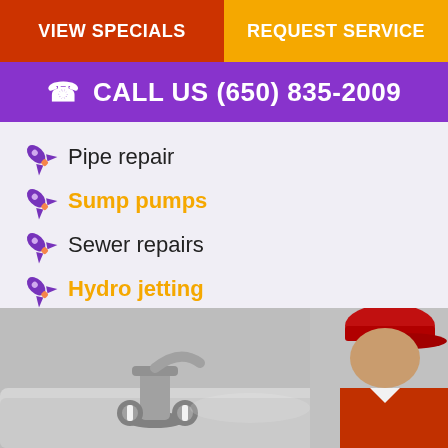VIEW SPECIALS
REQUEST SERVICE
CALL US (650) 835-2009
Pipe repair
Sump pumps
Sewer repairs
Hydro jetting
Pipelining
Plumbing repairs
[Figure (photo): Plumber in red cap working on a bathtub faucet fixture]